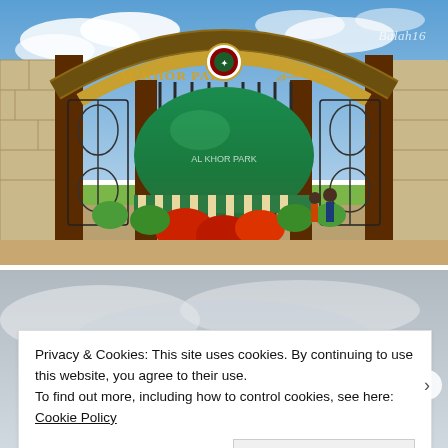[Figure (photo): Photo of Al Khor Park entrance gate with decorative arch reading 'AL KHOR PARK' in English and Arabic, a green dome structure visible behind the gate, red flowers, blue sky with clouds. Watermark 'Balah16' in top right corner.]
[Figure (photo): Partial second photo below, overcast sky, mostly obscured by cookie consent banner.]
Privacy & Cookies: This site uses cookies. By continuing to use this website, you agree to their use.
To find out more, including how to control cookies, see here: Cookie Policy
Close and accept